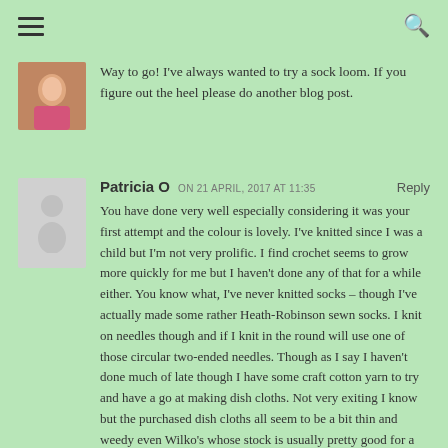Navigation menu and search icon
Way to go! I've always wanted to try a sock loom. If you figure out the heel please do another blog post.
Patricia O ON 21 APRIL, 2017 AT 11:35 Reply
You have done very well especially considering it was your first attempt and the colour is lovely. I've knitted since I was a child but I'm not very prolific. I find crochet seems to grow more quickly for me but I haven't done any of that for a while either. You know what, I've never knitted socks – though I've actually made some rather Heath-Robinson sewn socks. I knit on needles though and if I knit in the round will use one of those circular two-ended needles. Though as I say I haven't done much of late though I have some craft cotton yarn to try and have a go at making dish cloths. Not very exiting I know but the purchased dish cloths all seem to be a bit thin and weedy even Wilko's whose stock is usually pretty good for a reasonable price – no I haven't traded up to